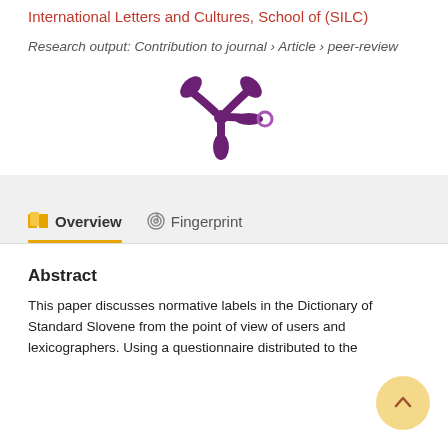International Letters and Cultures, School of (SILC)
Research output: Contribution to journal › Article › peer-review
[Figure (logo): Altmetric or similar network/spider logo in dark purple with a small purple/pink dot, centered on white background]
Overview
Fingerprint
Abstract
This paper discusses normative labels in the Dictionary of Standard Slovene from the point of view of users and lexicographers. Using a questionnaire distributed to the